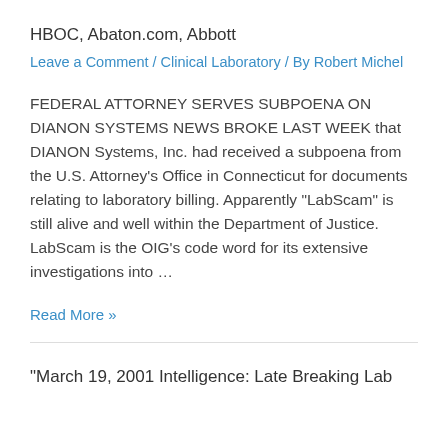HBOC, Abaton.com, Abbott
Leave a Comment / Clinical Laboratory / By Robert Michel
FEDERAL ATTORNEY SERVES SUBPOENA ON DIANON SYSTEMS NEWS BROKE LAST WEEK that DIANON Systems, Inc. had received a subpoena from the U.S. Attorney’s Office in Connecticut for documents relating to laboratory billing. Apparently “LabScam” is still alive and well within the Department of Justice. LabScam is the OIG’s code word for its extensive investigations into …
Read More »
“March 19, 2001 Intelligence: Late Breaking Lab